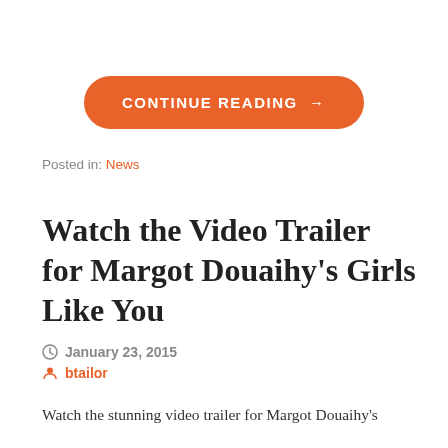CONTINUE READING →
Posted in: News
Watch the Video Trailer for Margot Douaihy's Girls Like You
January 23, 2015
btailor
Watch the stunning video trailer for Margot Douaihy's